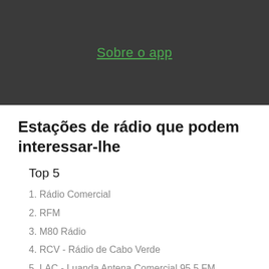[Figure (screenshot): Dark grey banner with green underlined link text 'Sobre o app' centered]
Estações de rádio que podem interessar-lhe
Top 5
1. Rádio Comercial
2. RFM
3. M80 Rádio
4. RCV - Rádio de Cabo Verde
5. LAC - Luanda Antena Comercial 95.5 FM